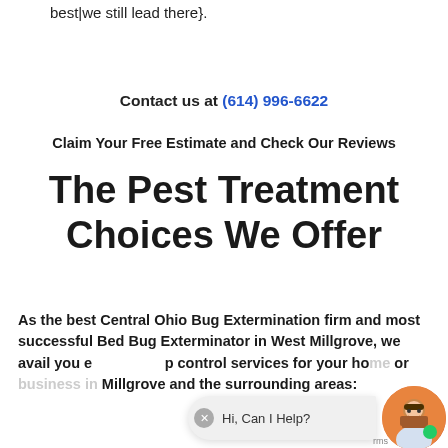best|we still lead there}.
Contact us at (614) 996-6622
Claim Your Free Estimate and Check Our Reviews
The Pest Treatment Choices We Offer
As the best Central Ohio Bug Extermination firm and most successful Bed Bug Exterminator in West Millgrove, we avail you e p control services for your home or business in Millgrove and the surrounding areas: